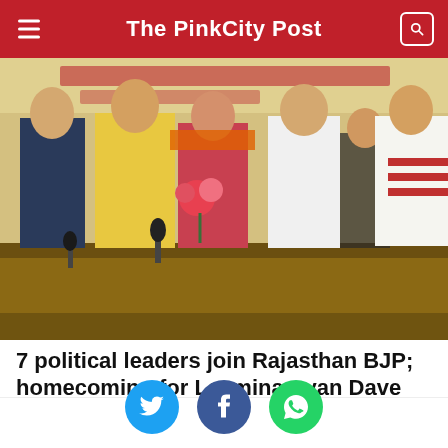The PinkCity Post
[Figure (photo): Group of political leaders at a BJP event in Rajasthan, one leader in yellow kurta receiving flowers from another in orange/pink attire, with Hindi text banner in the background]
7 political leaders join Rajasthan BJP; homecoming for Laxminarayan Dave
[Figure (photo): Second article thumbnail showing water/dam or waterfall scene, with a red badge showing the number 7]
[Figure (infographic): Social share buttons: Twitter (blue bird), Facebook (blue f), WhatsApp (green phone)]